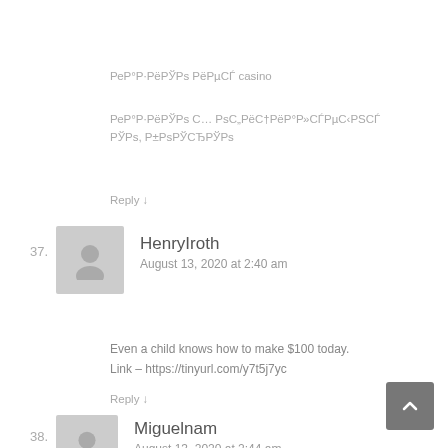РеР°Р·РёРЎРs РёРµСЃ casino
РеР°Р·РёРЎРs С… РsС„РёС†РёР°Р»СЃРµС‹РЅСЃ РЎРs
Reply ↓
37. HenryIroth
August 13, 2020 at 2:40 am
Even a child knows how to make $100 today.
Link – https://tinyurl.com/y7t5j7yc
Reply ↓
38. Miguelnam
August 13, 2020 at 2:44 am